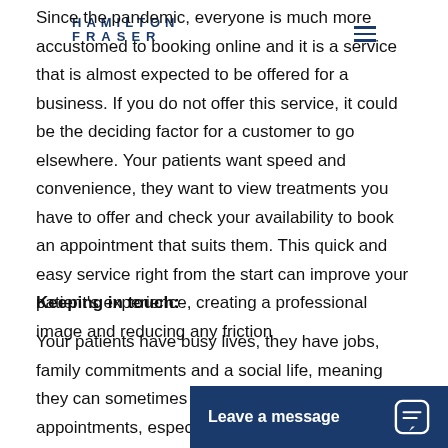HAMILTON FRASER
Since the pandemic, everyone is much more accustomed to booking online and it is a service that is almost expected to be offered for a business. If you do not offer this service, it could be the deciding factor for a customer to go elsewhere. Your patients want speed and convenience, they want to view treatments you have to offer and check your availability to book an appointment that suits them. This quick and easy service right from the start can improve your patient's experience, creating a professional image and reducing any friction
Keeping in touch:
Your patients have busy lives, they have jobs, family commitments and a social life, meaning they can sometimes lose track of their scheduled appointments, especially if they have been booked months in advance. Think a with your patients?